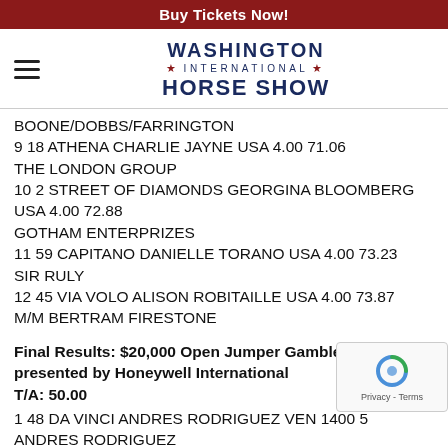Buy Tickets Now!
[Figure (logo): Washington International Horse Show logo with hamburger menu icon]
BOONE/DOBBS/FARRINGTON
9 18 ATHENA CHARLIE JAYNE USA 4.00 71.06
THE LONDON GROUP
10 2 STREET OF DIAMONDS GEORGINA BLOOMBERG USA 4.00 72.88
GOTHAM ENTERPRIZES
11 59 CAPITANO DANIELLE TORANO USA 4.00 73.23
SIR RULY
12 45 VIA VOLO ALISON ROBITAILLE USA 4.00 73.87
M/M BERTRAM FIRESTONE
Final Results: $20,000 Open Jumper Gambler's Choice, presented by Honeywell International T/A: 50.00
1 48 DA VINCI ANDRES RODRIGUEZ VEN 1400 5
ANDRES RODRIGUEZ